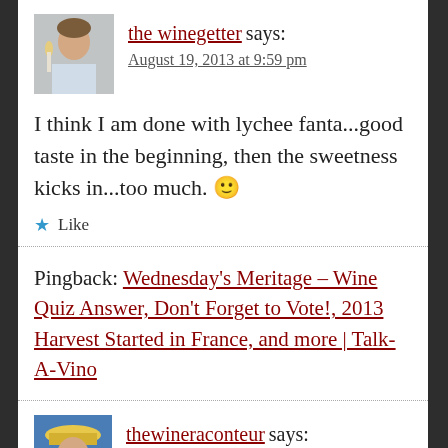[Figure (photo): Avatar photo of a person at a dinner table with candles and a wine bottle]
the winegetter says:
August 19, 2013 at 9:59 pm
I think I am done with lychee fanta...good taste in the beginning, then the sweetness kicks in...too much. 🙂
★ Like
Pingback: Wednesday's Meritage – Wine Quiz Answer, Don't Forget to Vote!, 2013 Harvest Started in France, and more | Talk-A-Vino
[Figure (photo): Avatar photo of a person wearing a hat]
thewineraconteur says: